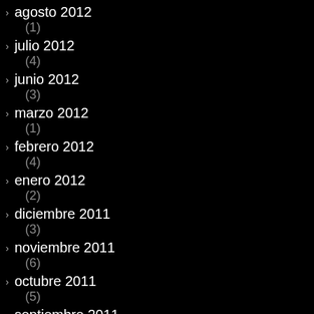agosto 2012
(1)
julio 2012
(4)
junio 2012
(3)
marzo 2012
(1)
febrero 2012
(4)
enero 2012
(2)
diciembre 2011
(3)
noviembre 2011
(6)
octubre 2011
(5)
septiembre 2011
(5)
julio 2011
(3)